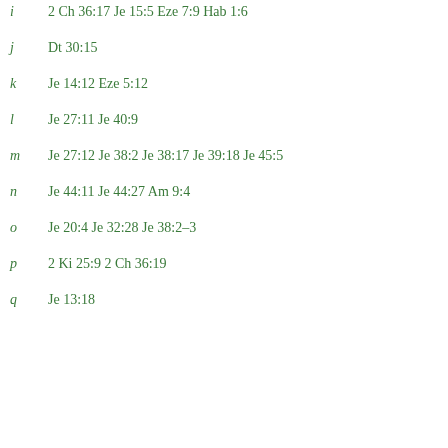i  2 Ch 36:17 Je 15:5 Eze 7:9 Hab 1:6
j  Dt 30:15
k  Je 14:12 Eze 5:12
l  Je 27:11 Je 40:9
m  Je 27:12 Je 38:2 Je 38:17 Je 39:18 Je 45:5
n  Je 44:11 Je 44:27 Am 9:4
o  Je 20:4 Je 32:28 Je 38:2–3
p  2 Ki 25:9 2 Ch 36:19
q  Je 13:18